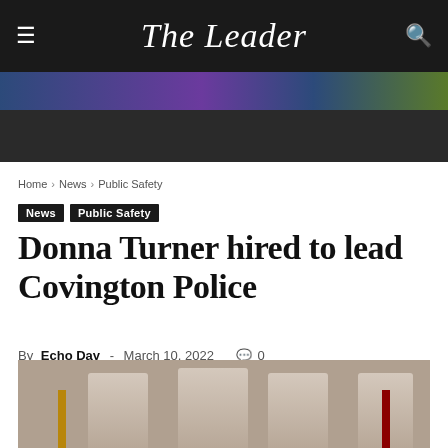The Leader
Home › News › Public Safety
News  Public Safety
Donna Turner hired to lead Covington Police
By Echo Day - March 10, 2022  0
[Figure (photo): Group photo of people at what appears to be an official ceremony, partially visible at bottom of page]